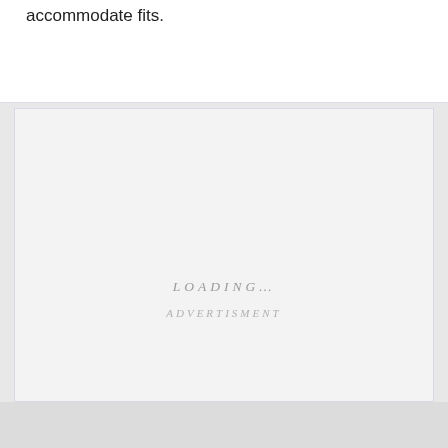accommodate fits.
[Figure (other): Loading placeholder area with LOADING... text in center and ADVERTISMENT label near bottom]
LOADING...
ADVERTISMENT